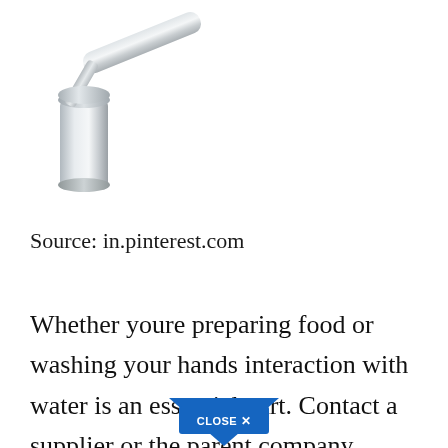[Figure (photo): Chrome kitchen faucet with a single lever handle, partially cropped, showing the upper portion of the faucet on a white background]
Source: in.pinterest.com
Whether youre preparing food or washing your hands interaction with water is an essential part. Contact a supplier or the parent company directly to. Shop online for